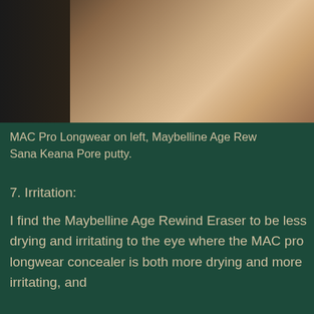[Figure (photo): Close-up photo of skin/face, cropped showing nose area, dark background on left transitioning to skin tones on right]
MAC Pro Longwear on left, Maybelline Age Rew... Sana Keana Pore putty.
7. Irritation:
I find the Maybelline Age Rewind Eraser to be less drying and irritating to the eye where the MAC pro longwear concealer is both more drying and more irritating, and
[Figure (other): Advertisement banner for Victoria's Secret featuring a model with curly hair on a pink background with text SHOP THE COLLECTION and SHOP NOW button]